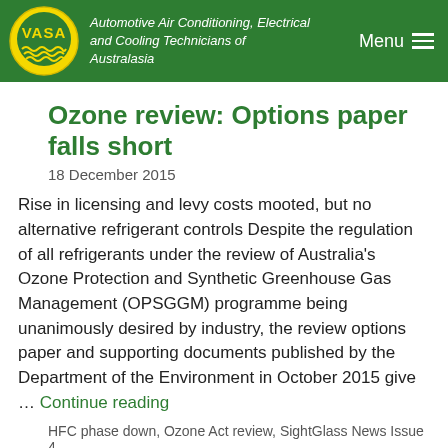[Figure (logo): VASA logo — circular yellow badge with 'VASA' text and wavy lines beneath, on a dark green header background. Header text reads: Automotive Air Conditioning, Electrical and Cooling Technicians of Australasia]
Ozone review: Options paper falls short
18 December 2015
Rise in licensing and levy costs mooted, but no alternative refrigerant controls Despite the regulation of all refrigerants under the review of Australia's Ozone Protection and Synthetic Greenhouse Gas Management (OPSGGM) programme being unanimously desired by industry, the review options paper and supporting documents published by the Department of the Environment in October 2015 give …  Continue reading
HFC phase down, Ozone Act review, SightGlass News Issue 4
AAAA COVID-19 webinars